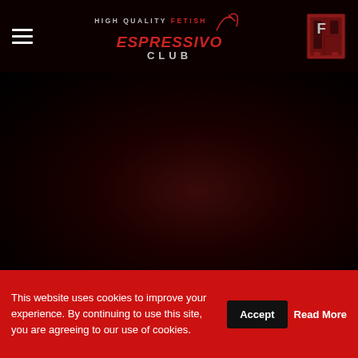HIGH QUALITY FETISH ESPRESSIVO CLUB
[Figure (photo): Dark background with subtle reddish-brown radial glow in center, suggesting a dimly lit interior scene]
This website uses cookies to improve your experience. By continuing to use this site, you are agreeing to our use of cookies.
Accept
Read More